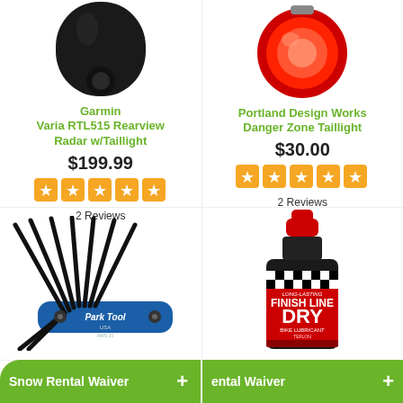[Figure (photo): Garmin Varia RTL515 rearview radar with taillight device, black oval shape]
Garmin
Varia RTL515 Rearview Radar w/Taillight
$199.99
[Figure (other): 5 orange star rating boxes]
2 Reviews
[Figure (photo): Portland Design Works Danger Zone Taillight, red round taillight]
Portland Design Works
Danger Zone Taillight
$30.00
[Figure (other): 5 orange star rating boxes]
2 Reviews
[Figure (photo): Park Tool USA folding hex key set, blue handle]
[Figure (photo): Finish Line Dry Bike Lubricant bottle with red cap]
Snow Rental Waiver
+
ental Waiver
+